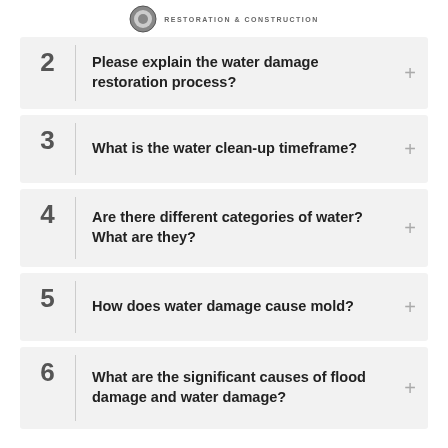RESTORATION & CONSTRUCTION
2  Please explain the water damage restoration process?
3  What is the water clean-up timeframe?
4  Are there different categories of water? What are they?
5  How does water damage cause mold?
6  What are the significant causes of flood damage and water damage?